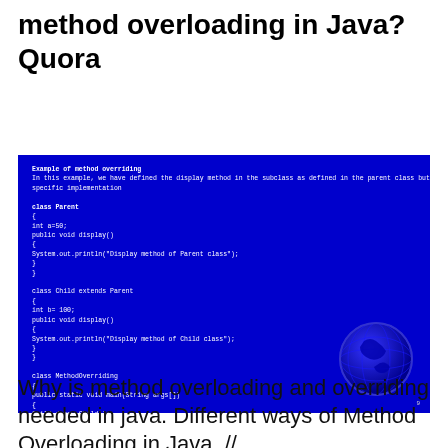method overloading in Java? Quora
[Figure (screenshot): Dark blue background screenshot showing Java code example of method overriding. Code includes classes Parent, Child extends Parent, and MethodOverriding, with display() methods and main method. A globe graphic appears in the bottom right corner.]
Why is method overloading and overriding needed in java. Different ways of Method Overloading in Java. //